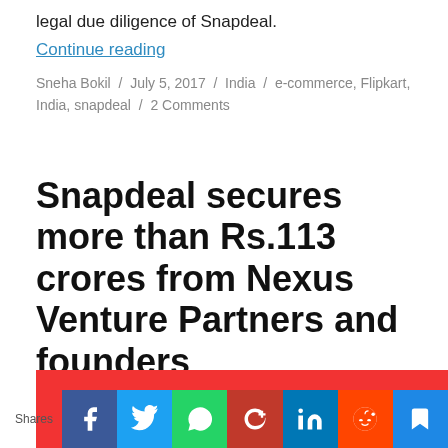legal due diligence of Snapdeal.
Continue reading
Sneha Bokil / July 5, 2017 / India / e-commerce, Flipkart, India, snapdeal / 2 Comments
Snapdeal secures more than Rs.113 crores from Nexus Venture Partners and founders
[Figure (photo): Red banner image at bottom of article]
[Figure (infographic): Social sharing bar with Facebook, Twitter, WhatsApp, Google+, LinkedIn, Reddit, and bookmark buttons]